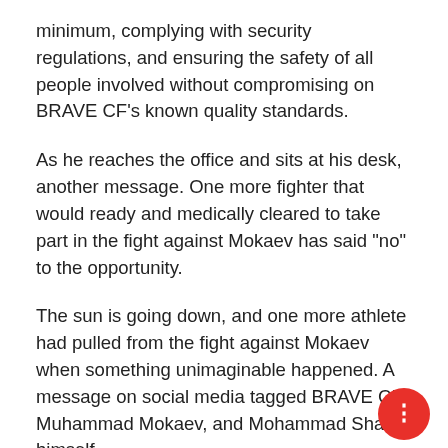minimum, complying with security regulations, and ensuring the safety of all people involved without compromising on BRAVE CF’s known quality standards.
As he reaches the office and sits at his desk, another message. One more fighter that would ready and medically cleared to take part in the fight against Mokaev has said “no” to the opportunity.
The sun is going down, and one more athlete had pulled from the fight against Mokaev when something unimaginable happened. A message on social media tagged BRAVE CF, Muhammad Mokaev, and Mohammad Shahid himself.
The notification pops, he opens his social media account and checks. It’s a video, from an amateur fighter from Belfast, Northern Ireland, called Glenn McVeigh. He claims